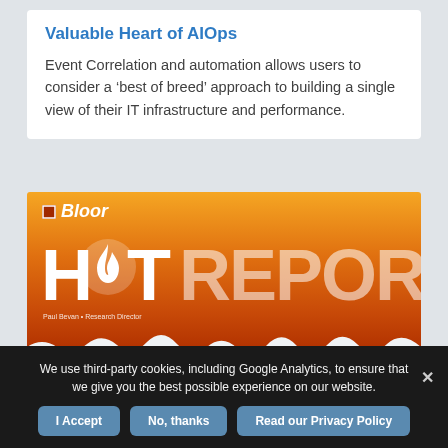Valuable Heart of AIOps
Event Correlation and automation allows users to consider a ‘best of breed’ approach to building a single view of their IT infrastructure and performance.
[Figure (illustration): Bloor Hot Report cover image with orange gradient background, Bloor logo, large HOT REPORT text with flame icon, author credit line, torn paper edge effect, and 'Hybrid Infrastructure Management' subtitle in white/blue box at bottom.]
We use third-party cookies, including Google Analytics, to ensure that we give you the best possible experience on our website.